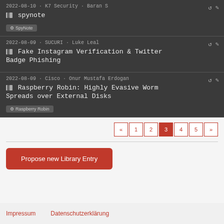2022-08-10 · K7 Security · Baran S
spynote
SpyNote
2022-08-09 · SUCURI · Luke Leal
Fake Instagram Verification & Twitter Badge Phishing
2022-08-09 · Cisco · Onur Mustafa Erdogan
Raspberry Robin: Highly Evasive Worm Spreads over External Disks
Raspberry Robin
« 1 2 3 4 5 »
Propose new Library Entry
Impressum    Datenschutzerklärung